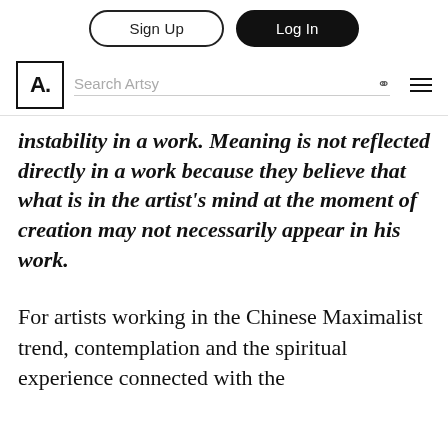Sign Up | Log In
Search Artsy
instability in a work. Meaning is not reflected directly in a work because they believe that what is in the artist's mind at the moment of creation may not necessarily appear in his work.
For artists working in the Chinese Maximalist trend, contemplation and the spiritual experience connected with the